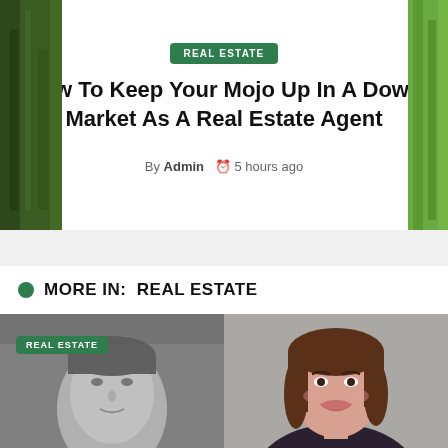REAL ESTATE
How To Keep Your Mojo Up In A Down Market As A Real Estate Agent
By Admin  5 hours ago
MORE IN:  REAL ESTATE
[Figure (photo): Two headshot photos side by side: left is a grayscale photo of a man, right is a color photo of a smiling woman with brown hair. A green 'REAL ESTATE' badge overlays the top-left of the left photo.]